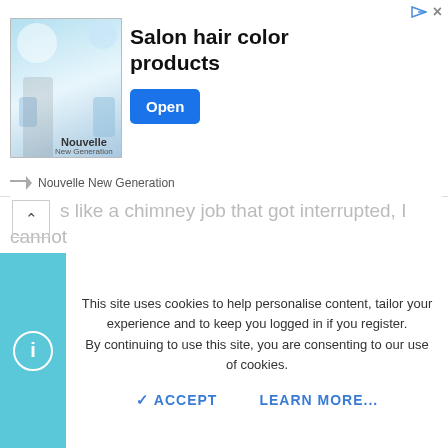[Figure (screenshot): Advertisement banner for Nouvelle New Generation salon hair color products with blue Open button]
s like a chimney job that got interrupted, I cannot believe a mason would leave those holes on top of the chimney. And it looks like the mortar is starting to separate from the brick.
peakbagger
Minister of Fire
Jul 11, 2008  7,389  Northern NH
This site uses cookies to help personalise content, tailor your experience and to keep you logged in if you register.
By continuing to use this site, you are consenting to our use of cookies.
ACCEPT    LEARN MORE...